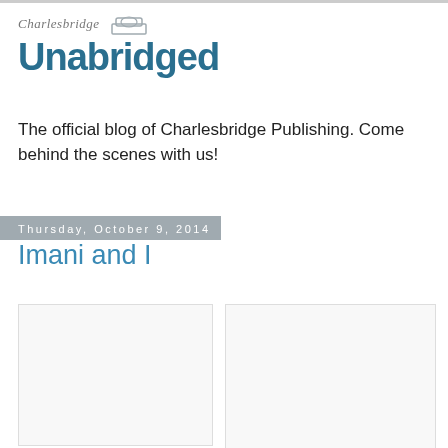[Figure (logo): Charlesbridge Unabridged blog logo with script text 'Charlesbridge' above large bold 'Unabridged' in teal/blue]
The official blog of Charlesbridge Publishing. Come behind the scenes with us!
Thursday, October 9, 2014
Imani and I
[Figure (photo): Left image placeholder (white/light gray box)]
[Figure (photo): Right image placeholder (white/light gray box)]